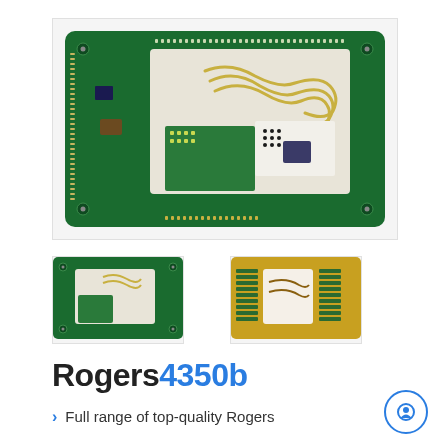[Figure (photo): Large green PCB circuit board with Rogers laminate, showing complex routing, components, and mixed dielectric areas (green and white/cream colored substrate regions)]
[Figure (photo): Small thumbnail of a green PCB board with white Rogers substrate area]
[Figure (photo): Small thumbnail of a gold/yellow PCB board with white Rogers substrate area]
Rogers4350b
Full range of top-quality Rogers